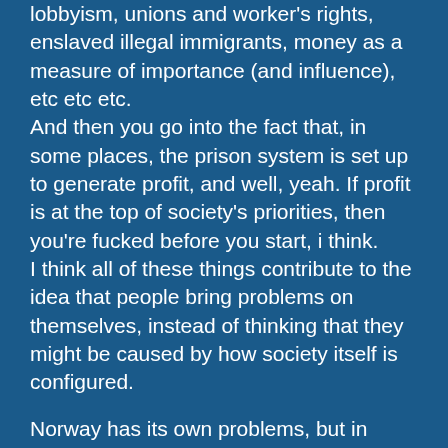lobbyism, unions and worker's rights, enslaved illegal immigrants, money as a measure of importance (and influence), etc etc etc.
And then you go into the fact that, in some places, the prison system is set up to generate profit, and well, yeah. If profit is at the top of society's priorities, then you're fucked before you start, i think.
I think all of these things contribute to the idea that people bring problems on themselves, instead of thinking that they might be caused by how society itself is configured.
Norway has its own problems, but in general the society there has (or strives for) the polar opposite of the views above (sometimes to arguably bad extremes, like Janta law.)
These problems are usually big, systemic problems, and usually need big, systemic solutions, like fixing all the problems that contribute to it at once, perhaps very slowly.